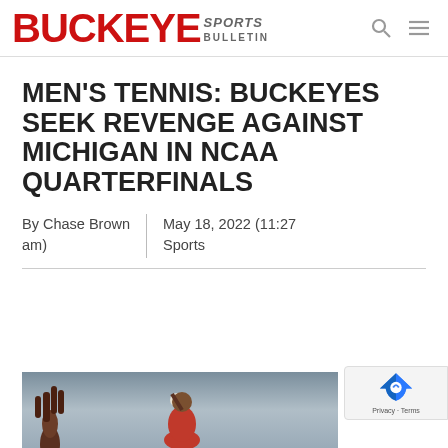Buckeye Sports Bulletin
MEN'S TENNIS: BUCKEYES SEEK REVENGE AGAINST MICHIGAN IN NCAA QUARTERFINALS
By Chase Brown | May 18, 2022 (11:27 am) | Sports
[Figure (photo): A tennis player reaching up to hit a ball, photographed from below against a gray background]